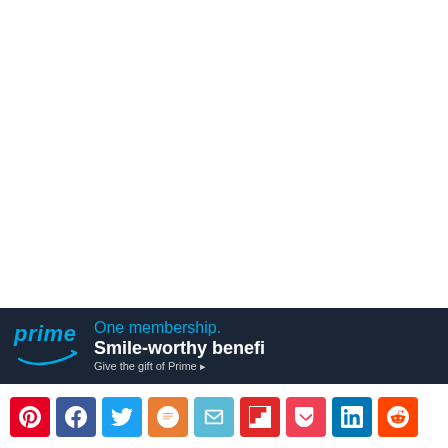[Figure (other): Amazon Prime advertisement banner with dark navy background. Shows 'prime' logo in blue italic text with Amazon arrow underneath, followed by text 'One membership.' in blue, 'Smile-worthy benefi[ts]' in white bold, and 'Give the gift of Prime ▸' in gray.]
[Figure (other): Row of social media sharing buttons: Pinterest (red), Facebook (dark blue), Twitter (light blue), Mix (orange), Email (teal), Flipboard (red), Pocket (pink-red), LinkedIn (blue), Reddit (orange-red).]